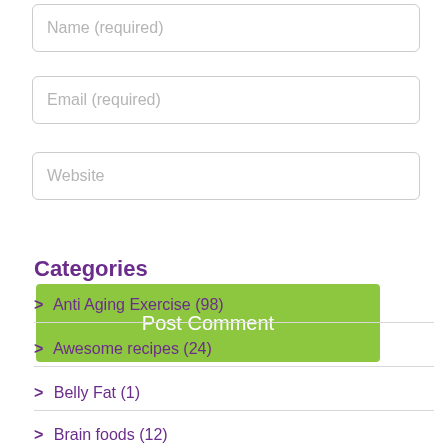Name (required)
Email (required)
Website
Post Comment
Categories
> Anti Aging Exercise (98)
> Awesome recipes (24)
> Belly Fat (1)
> Brain foods (12)